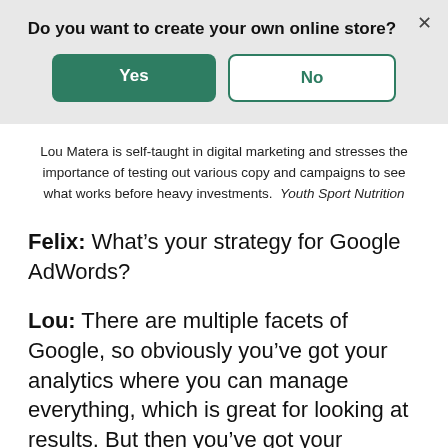Do you want to create your own online store?
[Figure (screenshot): Modal dialog with Yes (green filled button) and No (green outlined button) options, and an X close button]
Lou Matera is self-taught in digital marketing and stresses the importance of testing out various copy and campaigns to see what works before heavy investments. Youth Sport Nutrition
Felix: What’s your strategy for Google AdWords?
Lou: There are multiple facets of Google, so obviously you’ve got your analytics where you can manage everything, which is great for looking at results. But then you’ve got your